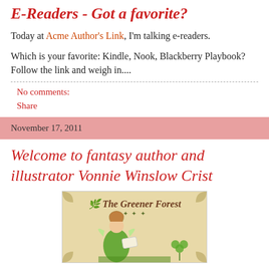E-Readers - Got a favorite?
Today at Acme Author's Link, I'm talking e-readers.
Which is your favorite: Kindle, Nook, Blackberry Playbook? Follow the link and weigh in....
No comments:
Share
November 17, 2011
Welcome to fantasy author and illustrator Vonnie Winslow Crist
[Figure (illustration): Book cover image for 'The Greener Forest' featuring a fairy/elf woman in green tones with decorative text in a medieval style on a parchment background]